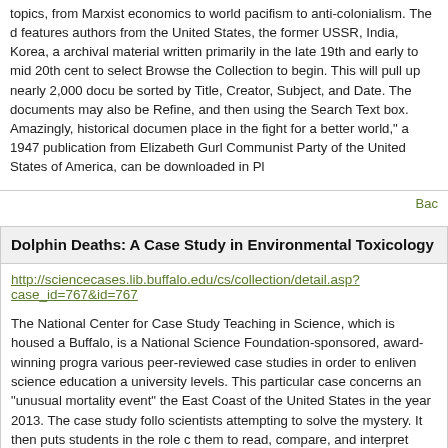topics, from Marxist economics to world pacifism to anti-colonialism. The d features authors from the United States, the former USSR, India, Korea, a archival material written primarily in the late 19th and early to mid 20th cent to select Browse the Collection to begin. This will pull up nearly 2,000 docu be sorted by Title, Creator, Subject, and Date. The documents may also be Refine, and then using the Search Text box. Amazingly, historical documen place in the fight for a better world," a 1947 publication from Elizabeth Gurl Communist Party of the United States of America, can be downloaded in Pl
Bac
Dolphin Deaths: A Case Study in Environmental Toxicology
http://sciencecases.lib.buffalo.edu/cs/collection/detail.asp?case_id=767&id=767
The National Center for Case Study Teaching in Science, which is housed a Buffalo, is a National Science Foundation-sponsored, award-winning progra various peer-reviewed case studies in order to enliven science education a university levels. This particular case concerns an "unusual mortality event" the East Coast of the United States in the year 2013. The case study follo scientists attempting to solve the mystery. It then puts students in the role c them to read, compare, and interpret various explanations of the events, in the scientific and social aspects that likely intersected to cause the dolphin may be downloaded for free as a PDF. Teaching Notes and Answer Keys a
Bac